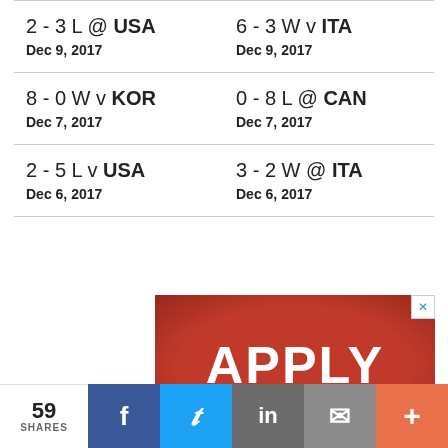| 2 - 3 L @ USA
Dec 9, 2017 | 6 - 3 W v ITA
Dec 9, 2017 |
| 8 - 0 W v KOR
Dec 7, 2017 | 0 - 8 L @ CAN
Dec 7, 2017 |
| 2 - 5 L v USA
Dec 6, 2017 | 3 - 2 W @ ITA
Dec 6, 2017 |
[Figure (other): Red advertisement banner with white bold text 'APPLY' and a close (x) button in the top right corner]
59 SHARES